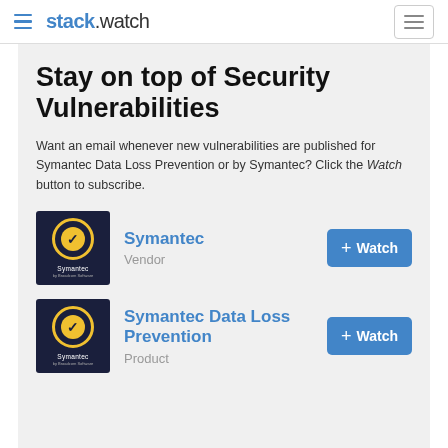stack.watch
Stay on top of Security Vulnerabilities
Want an email whenever new vulnerabilities are published for Symantec Data Loss Prevention or by Symantec? Click the Watch button to subscribe.
[Figure (logo): Symantec logo - dark navy background with yellow checkmark circle]
Symantec
Vendor
[Figure (logo): Symantec logo - dark navy background with yellow checkmark circle]
Symantec Data Loss Prevention
Product